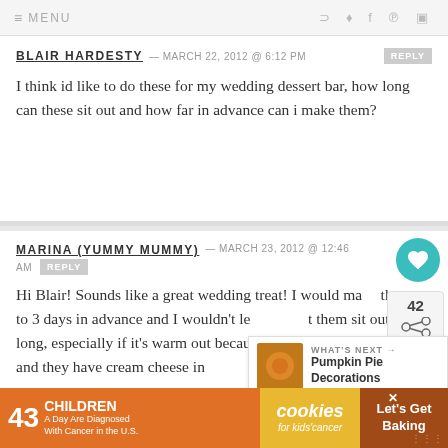≡ MENU
BLAIR HARDESTY — MARCH 22, 2012 @ 6:12 PM REPLY
I think id like to do these for my wedding dessert bar, how long can these sit out and how far in advance can i make them?
MARINA (YUMMY MUMMY) — MARCH 23, 2012 @ 12:46 AM REPLY
Hi Blair! Sounds like a great wedding treat! I would make them up to 3 days in advance and I wouldn't let them sit out too long, especially if it's warm out because white chocolate melting and they have cream cheese in them which should be kept out of too long and I wouldn't keep them out
[Figure (infographic): Ad banner: 43 Children A Day Are Diagnosed With Cancer in the U.S. cookies for kids cancer Let's Get Baking]
[Figure (infographic): What's Next overlay with Pumpkin Pie Decorations thumbnail]
[Figure (infographic): Heart/like button (teal circle) with share count 42]